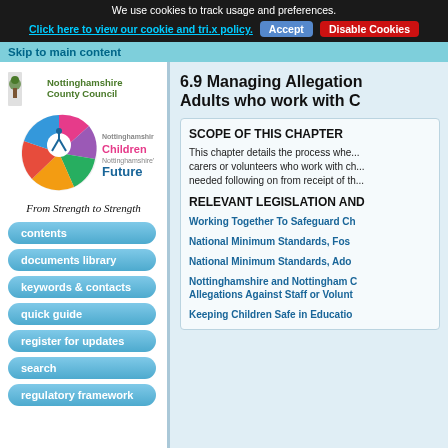We use cookies to track usage and preferences.
Click here to view our cookie and tri.x policy.  Accept  Disable Cookies
Skip to main content
[Figure (logo): Nottinghamshire County Council logo with tree icon and green text]
[Figure (logo): Nottinghamshire's Children Nottinghamshire's Future circular logo with figures]
From Strength to Strength
contents
documents library
keywords & contacts
quick guide
register for updates
search
regulatory framework
6.9 Managing Allegations Adults who work with C
SCOPE OF THIS CHAPTER
This chapter details the process whe... carers or volunteers who work with ch... needed following on from receipt of th...
RELEVANT LEGISLATION AND
Working Together To Safeguard Ch
National Minimum Standards, Fos
National Minimum Standards, Ado
Nottinghamshire and Nottingham C Allegations Against Staff or Volunt
Keeping Children Safe in Educatio